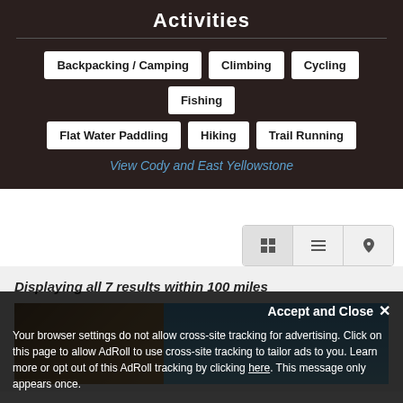Activities
Backpacking / Camping
Climbing
Cycling
Fishing
Flat Water Paddling
Hiking
Trail Running
View Cody and East Yellowstone
[Figure (screenshot): View toggle controls with grid, list, and map icons]
Displaying all 7 results within 100 miles
[Figure (photo): Rocky cliff face on the left with a blue sky on the right, outdoor/nature scene]
Accept and Close ✕
Your browser settings do not allow cross-site tracking for advertising. Click on this page to allow AdRoll to use cross-site tracking to tailor ads to you. Learn more or opt out of this AdRoll tracking by clicking here. This message only appears once.